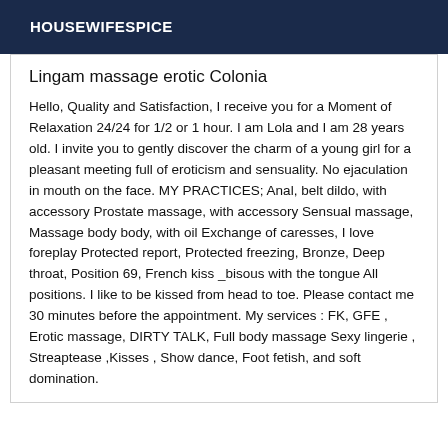HOUSEWIFESPICE
Lingam massage erotic Colonia
Hello, Quality and Satisfaction, I receive you for a Moment of Relaxation 24/24 for 1/2 or 1 hour. I am Lola and I am 28 years old. I invite you to gently discover the charm of a young girl for a pleasant meeting full of eroticism and sensuality. No ejaculation in mouth on the face. MY PRACTICES; Anal, belt dildo, with accessory Prostate massage, with accessory Sensual massage, Massage body body, with oil Exchange of caresses, I love foreplay Protected report, Protected freezing, Bronze, Deep throat, Position 69, French kiss _bisous with the tongue All positions. I like to be kissed from head to toe. Please contact me 30 minutes before the appointment. My services : FK, GFE , Erotic massage, DIRTY TALK, Full body massage Sexy lingerie , Streaptease ,Kisses , Show dance, Foot fetish, and soft domination.